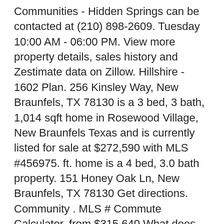Communities - Hidden Springs can be contacted at (210) 898-2609. Tuesday 10:00 AM - 06:00 PM. View more property details, sales history and Zestimate data on Zillow. Hillshire - 1602 Plan. 256 Kinsley Way, New Braunfels, TX 78130 is a 3 bed, 3 bath, 1,014 sqft home in Rosewood Village, New Braunfels Texas and is currently listed for sale at $272,590 with MLS #456975. ft. home is a 4 bed, 3.0 bath property. 151 Honey Oak Ln, New Braunfels, TX 78130 Get directions. Community . MLS # Commute Calculator. from $315,640 What does this Price Range mean? 151 Honey Oak Ln, New Braunfels, TX 78130 Get directions. 888-838-8444. from $254,990 - $376,710. Sales Office Hours. County: Comal. For Sale: Single Family home, $282,490, 3 Bd, 2 Ba, 1,327 Sqft, $213/Sqft, at Plan Davis - 1327 - 151 Honey Oak Ln, New Braunfels, TX 78130 The Price Range displayed reflects the base price of the homes built in this community. Search for New Home Communities in New